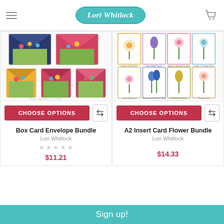Lori Whitlock
[Figure (photo): Box Card Envelope Bundle product image showing colorful 3D pop-up flower envelope cards]
[Figure (photo): A2 Insert Card Flower Bundle product image showing eight flat floral greeting cards]
CHOOSE OPTIONS
CHOOSE OPTIONS
Box Card Envelope Bundle
Lori Whitlock
★★★★★
$11.21
A2 Insert Card Flower Bundle
Lori Whitlock
$14.33
[Figure (photo): Rectangle Pop Up Card Bundle digital cutting file product packaging - partial view]
[Figure (photo): Spring Floral and Easter Collection digital cutting file product packaging - partial view]
Sign up!